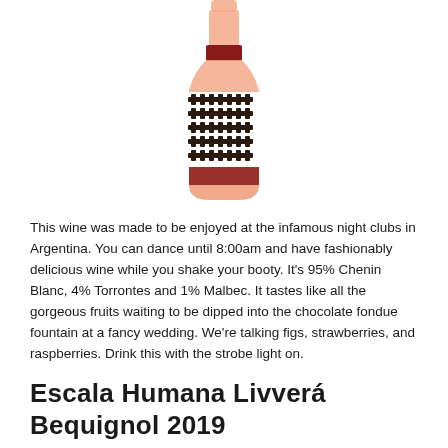[Figure (photo): A wine bottle with a salmon/rosé-colored liquid, a dark red foil cap, and a distinctive black and white geometric label pattern featuring repeating cross/anchor-like shapes.]
This wine was made to be enjoyed at the infamous night clubs in Argentina. You can dance until 8:00am and have fashionably delicious wine while you shake your booty. It's 95% Chenin Blanc, 4% Torrontes and 1% Malbec. It tastes like all the gorgeous fruits waiting to be dipped into the chocolate fondue fountain at a fancy wedding. We're talking figs, strawberries, and raspberries. Drink this with the strobe light on.
Escala Humana Livverá Bequignol 2019